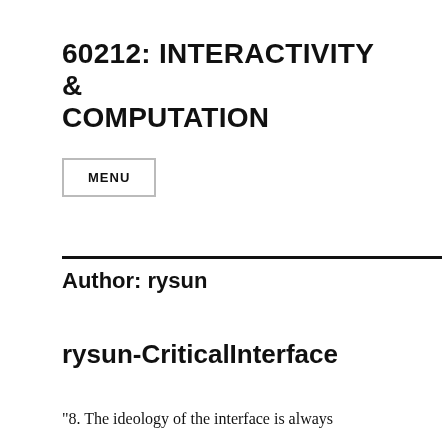60212: INTERACTIVITY & COMPUTATION
MENU
Author: rysun
rysun-CriticalInterface
"8. The ideology of the interface is always embedded in the interface itself, but it is not